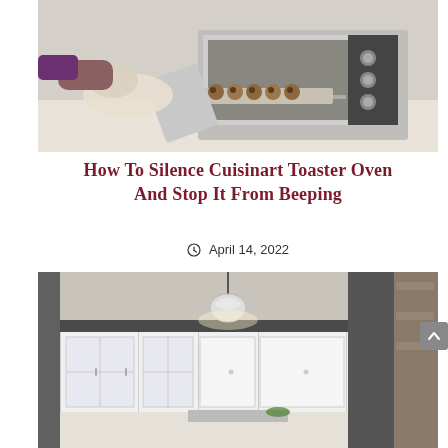[Figure (photo): Person pulling a baking tray of chocolate chip cookies out of a Cuisinart toaster oven using a cloth oven mitt. The toaster oven is stainless steel with a digital display and control knobs on the right side.]
How To Silence Cuisinart Toaster Oven And Stop It From Beeping
April 14, 2022
[Figure (photo): Modern kitchen interior with white cabinets featuring glass pane doors, dark grey upper trim and columns, a pendant light hanging from the ceiling, and a range hood above the stove. Stone or brick accent wall visible on the right.]